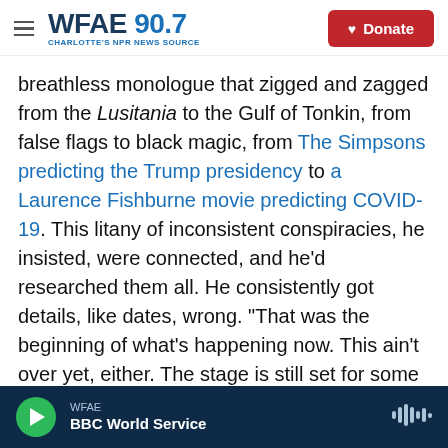WFAE 90.7 — CHARLOTTE'S NPR NEWS SOURCE | Donate
breathless monologue that zigged and zagged from the Lusitania to the Gulf of Tonkin, from false flags to black magic, from The Simpsons predicting the Trump presidency to a Laurence Fishburne movie predicting COVID-19. This litany of inconsistent conspiracies, he insisted, were connected, and he'd researched them all. He consistently got details, like dates, wrong. "That was the beginning of what's happening now. This ain't over yet, either. The stage is still set for some major Shakespearean avalanche of human death."
I asked him on two occasions for a recitation of the
WFAE — BBC World Service